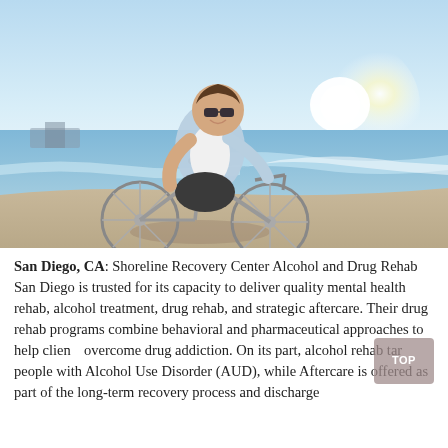[Figure (photo): A smiling man wearing sunglasses rides a bicycle on a sunny beach. He is dressed in a light blue open shirt over a white t-shirt and dark shorts. The ocean and waves are visible in the background with bright sunlight.]
San Diego, CA: Shoreline Recovery Center Alcohol and Drug Rehab San Diego is trusted for its capacity to deliver quality mental health rehab, alcohol treatment, drug rehab, and strategic aftercare. Their drug rehab programs combine behavioral and pharmaceutical approaches to help clients overcome drug addiction. On its part, alcohol rehab targets people with Alcohol Use Disorder (AUD), while Aftercare is offered as part of the long-term recovery process and discharge